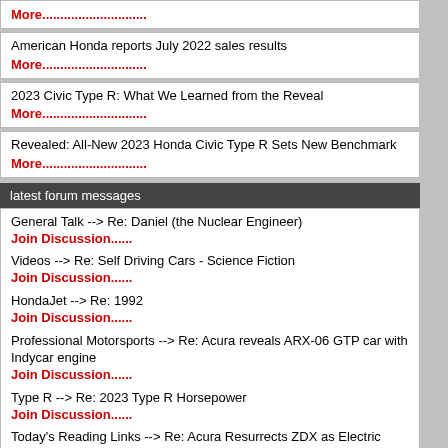More.......................
American Honda reports July 2022 sales results
More.......................
2023 Civic Type R: What We Learned from the Reveal
More.......................
Revealed: All-New 2023 Honda Civic Type R Sets New Benchmark
More.......................
latest forum messages
General Talk --> Re: Daniel (the Nuclear Engineer)
Join Discussion......
Videos --> Re: Self Driving Cars - Science Fiction
Join Discussion......
HondaJet --> Re: 1992
Join Discussion......
Professional Motorsports --> Re: Acura reveals ARX-06 GTP car with Indycar engine
Join Discussion......
Type R --> Re: 2023 Type R Horsepower
Join Discussion......
Today's Reading Links --> Re: Acura Resurrects ZDX as Electric SUV With Sportier Type S Trim
Acura RL on Motor Tr...
Posted by: Paul M.
VOSSEN WHEELS W... RL 05-08? (Score: 1, Norma...
Posted by: ODY
2014 RLX in the flesh... Rumors/News section)...
Posted by: JeffX
Weird issues after ma... HELP (Score: 1, Normal)
Posted by: IntegraB16A
No comment. (Score: 1,...
Posted by: NealX
RL to become RLX?
Posted by: NSXman
Acura: Birth of a Lege...
Posted by: TSX69
Weird issues after ma... HELP (Score: 1, Normal)
Posted by: IntegraB16A